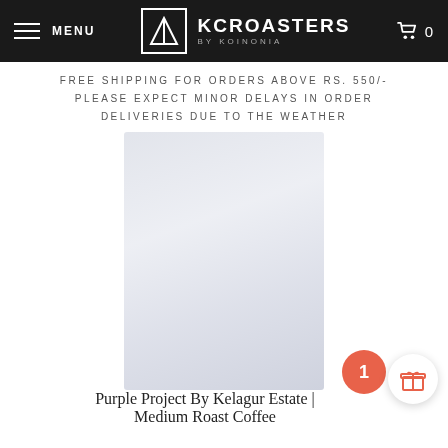MENU | KC ROASTERS BY KOINONIA | 0
FREE SHIPPING FOR ORDERS ABOVE RS. 550/- PLEASE EXPECT MINOR DELAYS IN ORDER DELIVERIES DUE TO THE WEATHER
[Figure (photo): Blurred/obscured product image of a coffee bag]
Purple Project By Kelagur Estate | Medium Roast Coffee